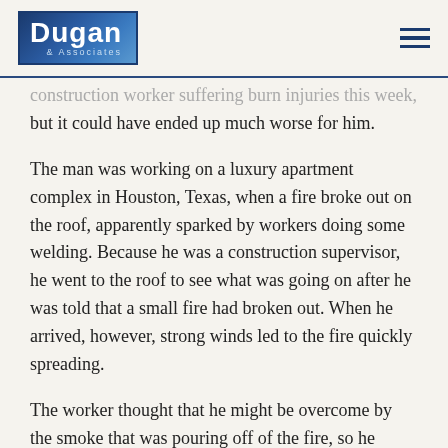Dugan & Associates
construction worker suffering burn injuries this week, but it could have ended up much worse for him.
The man was working on a luxury apartment complex in Houston, Texas, when a fire broke out on the roof, apparently sparked by workers doing some welding. Because he was a construction supervisor, he went to the roof to see what was going on after he was told that a small fire had broken out. When he arrived, however, strong winds led to the fire quickly spreading.
The worker thought that he might be overcome by the smoke that was pouring off of the fire, so he sought shelter on the fifth floor on a balcony. However, the fire continued to spread, and the man found himself stranded on the balcony – with no rescue workers yet on the scene. When crews finally did arrive, the man had to dangle from the balcony and jump onto a lower floor,